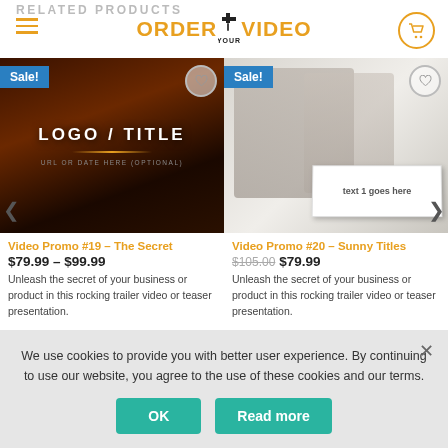ORDER YOUR VIDEO
RELATED PRODUCTS
[Figure (screenshot): Product thumbnail for Video Promo #19 showing LOGO / TITLE text on dark cinematic background with Sale! badge]
Video Promo #19 – The Secret
$79.99 – $99.99
Unleash the secret of your business or product in this rocking trailer video or teaser presentation.
[Figure (screenshot): Product thumbnail for Video Promo #20 showing office scene with text card 'text 1 goes here' with Sale! badge]
Video Promo #20 – Sunny Titles
$105.00  $79.99
Unleash the secret of your business or product in this rocking trailer video or teaser presentation.
We use cookies to provide you with better user experience. By continuing to use our website, you agree to the use of these cookies and our terms.